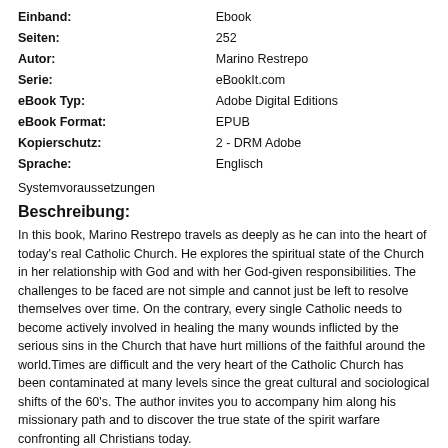| Einband: | Ebook |
| Seiten: | 252 |
| Autor: | Marino Restrepo |
| Serie: | eBookIt.com |
| eBook Typ: | Adobe Digital Editions |
| eBook Format: | EPUB |
| Kopierschutz: | 2 - DRM Adobe |
| Sprache: | Englisch |
Systemvoraussetzungen
Beschreibung:
In this book, Marino Restrepo travels as deeply as he can into the heart of today's real Catholic Church. He explores the spiritual state of the Church in her relationship with God and with her God-given responsibilities. The challenges to be faced are not simple and cannot just be left to resolve themselves over time. On the contrary, every single Catholic needs to become actively involved in healing the many wounds inflicted by the serious sins in the Church that have hurt millions of the faithful around the world.Times are difficult and the very heart of the Catholic Church has been contaminated at many levels since the great cultural and sociological shifts of the 60's. The author invites you to accompany him along his missionary path and to discover the true state of the spirit warfare confronting all Christians today.